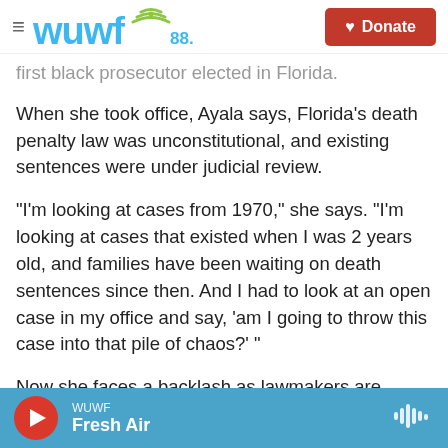WUWF 88.1 | Donate
first black prosecutor elected in Florida.
When she took office, Ayala says, Florida's death penalty law was unconstitutional, and existing sentences were under judicial review.
"I'm looking at cases from 1970," she says. "I'm looking at cases that existed when I was 2 years old, and families have been waiting on death sentences since then. And I had to look at an open case in my office and say, 'am I going to throw this case into that pile of chaos?' "
Now she faces a backlash as lawmakers are calling
WUWF | Fresh Air